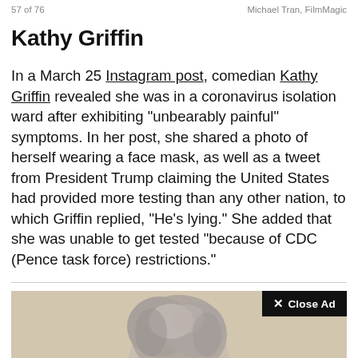57 of 76    Michael Tran, FilmMagic
Kathy Griffin
In a March 25 Instagram post, comedian Kathy Griffin revealed she was in a coronavirus isolation ward after exhibiting "unbearably painful" symptoms. In her post, she shared a photo of herself wearing a face mask, as well as a tweet from President Trump claiming the United States had provided more testing than any other nation, to which Griffin replied, "He's lying." She added that she was unable to get tested "because of CDC (Pence task force) restrictions."
[Figure (photo): Photo of a person with gray/white hair, partially visible, against a beige/tan background. A 'Close Ad' button overlay appears in the upper right corner of the photo area.]